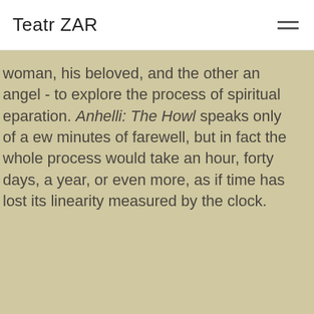Teatr ZAR
woman, his beloved, and the other an angel - to explore the process of spiritualeparation. Anhelli: The Howl speaks only of a ew minutes of farewell, but in fact the whole process would take an hour, forty days, a year, or even more, as if time has lost its linearity measured by the clock.